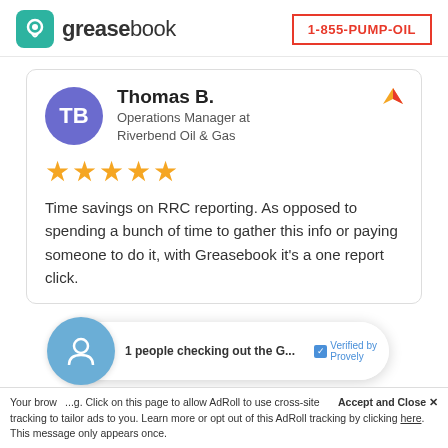[Figure (logo): Greasebook logo with teal icon and wordmark]
1-855-PUMP-OIL
Thomas B.
Operations Manager at Riverbend Oil & Gas
★★★★★
Time savings on RRC reporting. As opposed to spending a bunch of time to gather this info or paying someone to do it, with Greasebook it's a one report click.
1 people checking out the G...
Verified by Provely
Accept and Close ✕
Your brow... ...g. Click on this page to allow AdRoll to use cross-site tracking to tailor ads to you. Learn more or opt out of this AdRoll tracking by clicking here. This message only appears once.